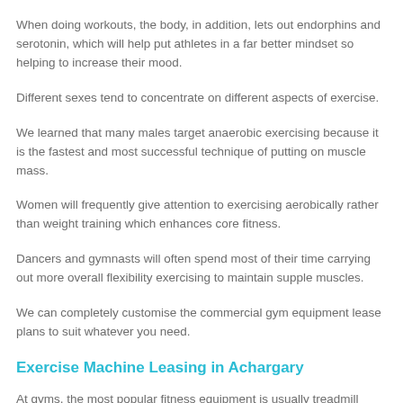When doing workouts, the body, in addition, lets out endorphins and serotonin, which will help put athletes in a far better mindset so helping to increase their mood.
Different sexes tend to concentrate on different aspects of exercise.
We learned that many males target anaerobic exercising because it is the fastest and most successful technique of putting on muscle mass.
Women will frequently give attention to exercising aerobically rather than weight training which enhances core fitness.
Dancers and gymnasts will often spend most of their time carrying out more overall flexibility exercising to maintain supple muscles.
We can completely customise the commercial gym equipment lease plans to suit whatever you need.
Exercise Machine Leasing in Achargary
At gyms, the most popular fitness equipment is usually treadmill